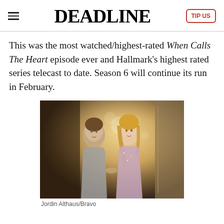DEADLINE
This was the most watched/highest-rated When Calls The Heart episode ever and Hallmark's highest rated series telecast to date. Season 6 will continue its run in February.
[Figure (photo): A man and a woman facing each other, appearing to dance or hold hands at a party/event setting with warm bokeh lighting in the background.]
Jordin Althaus/Bravo